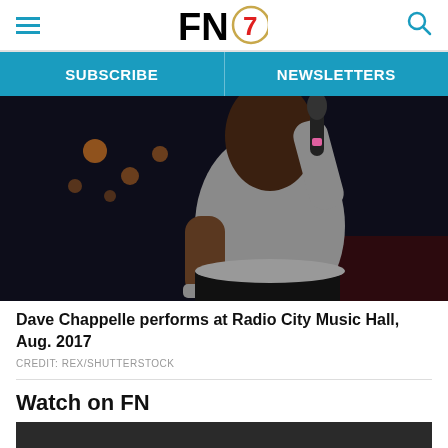FN7 (logo) — hamburger menu and search icon
SUBSCRIBE | NEWSLETTERS
[Figure (photo): Dave Chappelle performing on stage at Radio City Music Hall, August 2017. He is wearing a grey long-sleeve shirt and holding a microphone, with stage lights visible in the background.]
Dave Chappelle performs at Radio City Music Hall, Aug. 2017
CREDIT: REX/SHUTTERSTOCK
Watch on FN
[Figure (screenshot): Dark video player thumbnail area]